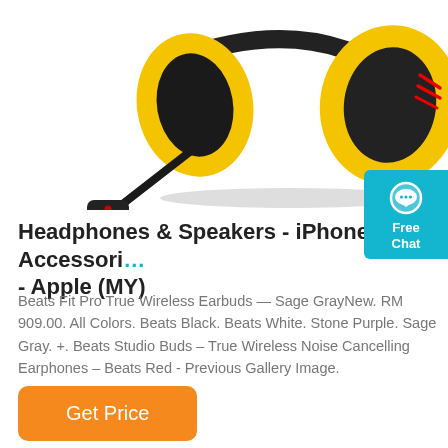[Figure (photo): Yellow gaming headset with black earcups and an extendable microphone boom, photographed from the side against a white background. The headset has red accent lines on the earcup.]
Headphones & Speakers - iPhone Accessories - Apple (MY)
Beats Fit Pro True Wireless Earbuds — Sage GrayNew. RM 909.00. All Colors. Beats Black. Beats White. Stone Purple. Sage Gray. +. Beats Studio Buds – True Wireless Noise Cancelling Earphones – Beats Red - Previous Gallery Image.
Get Price